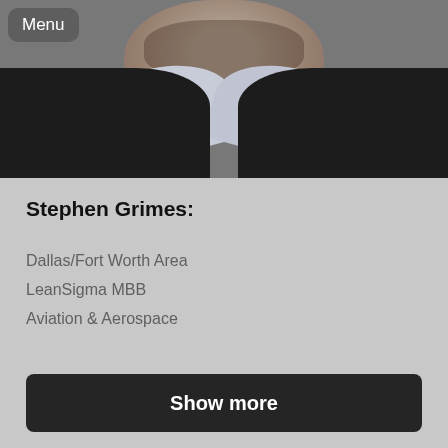[Figure (photo): Partial view of a man's face/neck area wearing a dark jacket and light blue/white collared shirt, photographed against a grey background. Only the lower portion of the face (chin/neck) is visible.]
Menu
Stephen Grimes:
Dallas/Fort Worth Area
LeanSigma MBB
Aviation & Aerospace
Show more